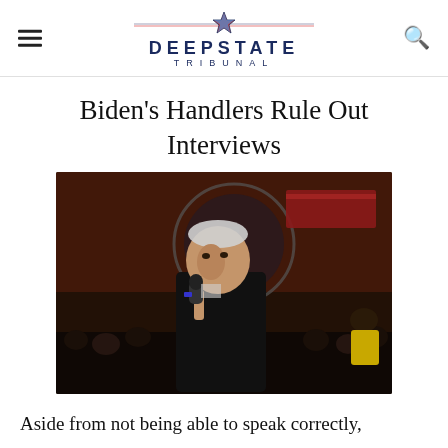DEEPSTATE TRIBUNAL
Biden's Handlers Rule Out Interviews
[Figure (photo): President Joe Biden standing at a microphone speaking at an event, with a crowd in the background]
Aside from not being able to speak correctly, President Joe Biden isn't taking interviews anymore. Biden hasn't done press interviews